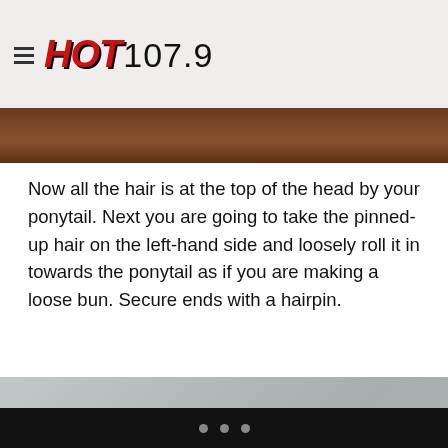HOT 107.9
[Figure (photo): Top portion of a photo showing a dark wooden surface or shelf, cropped at the top of the page]
Now all the hair is at the top of the head by your ponytail. Next you are going to take the pinned-up hair on the left-hand side and loosely roll it in towards the ponytail as if you are making a loose bun. Secure ends with a hairpin.
[Figure (photo): A light gray/silver background photo, partially cropped, showing a neutral indoor setting]
• • •